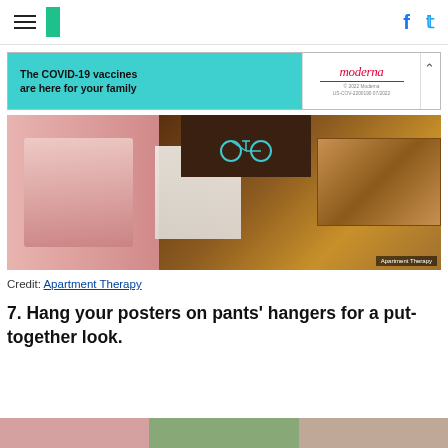HuffPost navigation with hamburger menu, logo, Facebook and Twitter icons
[Figure (other): Moderna COVID-19 vaccine advertisement banner: 'The COVID-19 vaccines are here for your family' on teal background, Moderna logo on white side]
[Figure (photo): Photo of wooden flooring steps/hallway with pink wall art on left showing a figure, bicycle artwork on wall, wooden floor planks. Credit: Apartment Therapy]
Credit: Apartment Therapy
7. Hang your posters on pants' hangers for a put-together look.
[Figure (photo): Partial bottom strip showing three images cropped at page bottom]